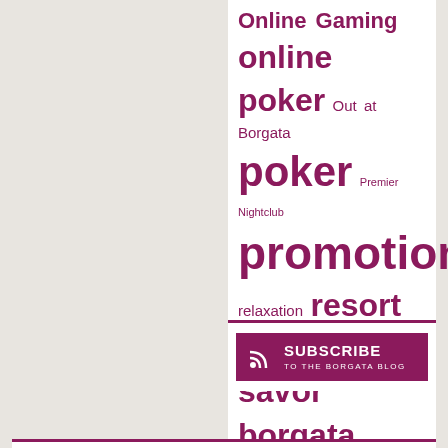online casino Online Gaming online poker Out at Borgata poker Premier Nightclub promotions relaxation resort Restaurants savor borgata slot machines slots spa Spa Toccare the music box tournament Tournaments Winners Wolfgang Puck American Grille
[Figure (other): Subscribe to the Borgata Blog button with RSS icon]